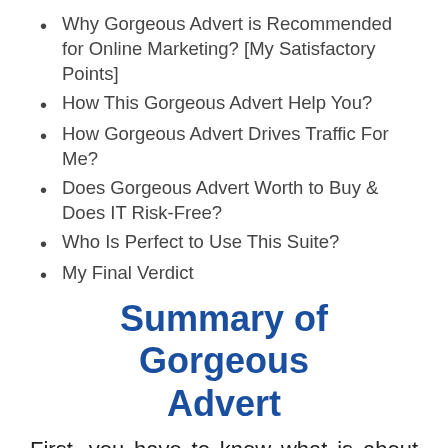Why Gorgeous Advert is Recommended for Online Marketing? [My Satisfactory Points]
How This Gorgeous Advert Help You?
How Gorgeous Advert Drives Traffic For Me?
Does Gorgeous Advert Worth to Buy & Does IT Risk-Free?
Who Is Perfect to Use This Suite?
My Final Verdict
Summary of Gorgeous Advert
First, you have to know what is about this product. It's necessary to know what is this